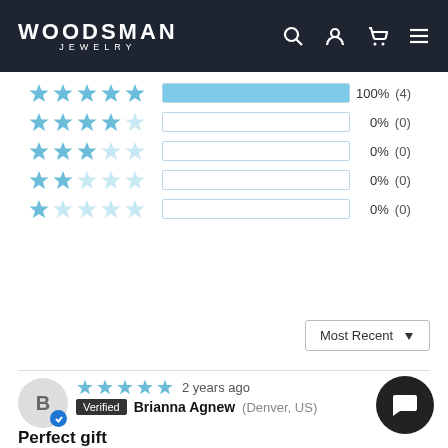WOODSMAN JEWELRY
[Figure (infographic): Star rating distribution bars: 5-star 100% (4), 4-star 0% (0), 3-star 0% (0), 2-star 0% (0), 1-star 0% (0)]
[Figure (infographic): Most Recent dropdown selector]
2 years ago  Verified  Brianna Agnew (Denver, US)
Perfect gift
My husband lived in Hawaii for years, I surprised him the the cuff links and he loved them! Perfect gift and... Read